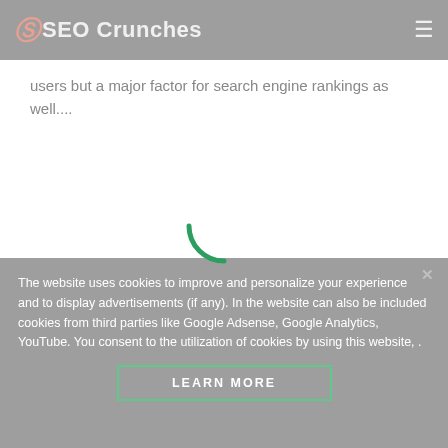SEO Crunches
users but a major factor for search engine rankings as well....
The website uses cookies to improve and personalize your experience and to display advertisements (if any). In the website can also be included cookies from third parties like Google Adsense, Google Analytics, YouTube. You consent to the utilization of cookies by using this website, .
[Figure (other): Green circular loading spinner arc]
LEARN MORE